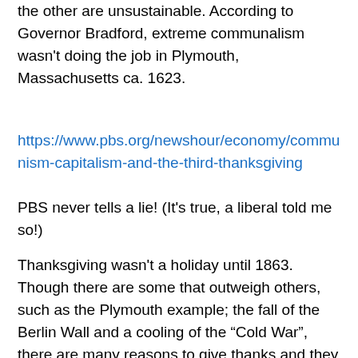the other are unsustainable. According to Governor Bradford, extreme communalism wasn't doing the job in Plymouth, Massachusetts ca. 1623.
https://www.pbs.org/newshour/economy/communism-capitalism-and-the-third-thanksgiving
PBS never tells a lie! (It's true, a liberal told me so!)
Thanksgiving wasn't a holiday until 1863. Though there are some that outweigh others, such as the Plymouth example; the fall of the Berlin Wall and a cooling of the “Cold War”, there are many reasons to give thanks and they continue adding up to this day.